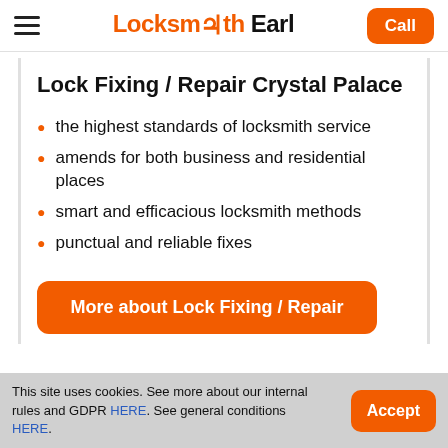Locksmith Earl — Call
Lock Fixing / Repair Crystal Palace
the highest standards of locksmith service
amends for both business and residential places
smart and efficacious locksmith methods
punctual and reliable fixes
More about Lock Fixing / Repair
This site uses cookies. See more about our internal rules and GDPR HERE. See general conditions HERE.